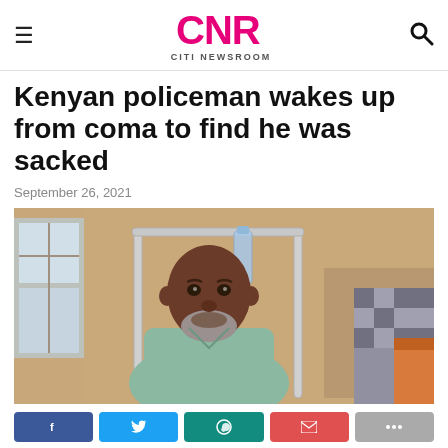CNR CITI NEWSROOM
Kenyan policeman wakes up from coma to find he was sacked
September 26, 2021
[Figure (photo): A man in a hospital gown sitting in a hospital bed with metal bed rails, looking at the camera. He has a grey beard and appears to be a middle-aged African man. A water bottle and shelves are visible in the background.]
We use cookies on our website to give you the most relevant